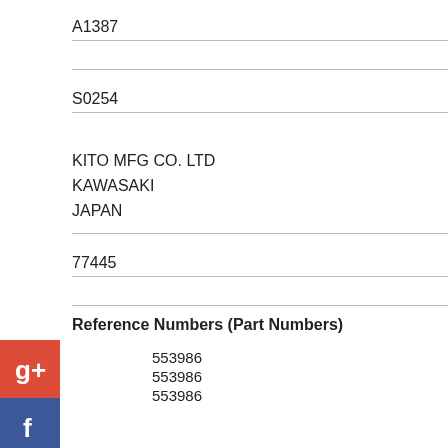A1387
S0254
KITO MFG CO. LTD
KAWASAKI
JAPAN
77445
Reference Numbers (Part Numbers)
553986
553986
553986